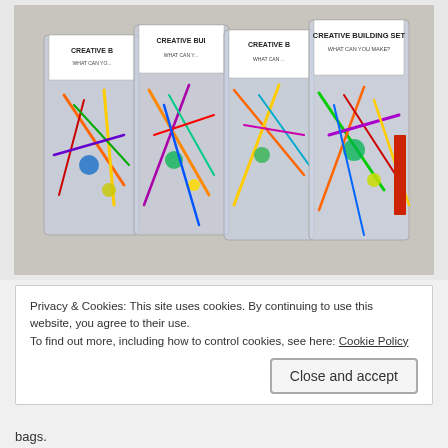[Figure (photo): Four transparent plastic bags labeled 'CREATIVE BUILDING SET - WHAT CAN YOU MAKE?' filled with colorful craft supplies including pipe cleaners, rubber bands, small balls, and other colorful items, arranged on a light gray surface.]
Privacy & Cookies: This site uses cookies. By continuing to use this website, you agree to their use.
To find out more, including how to control cookies, see here: Cookie Policy
Close and accept
bags.